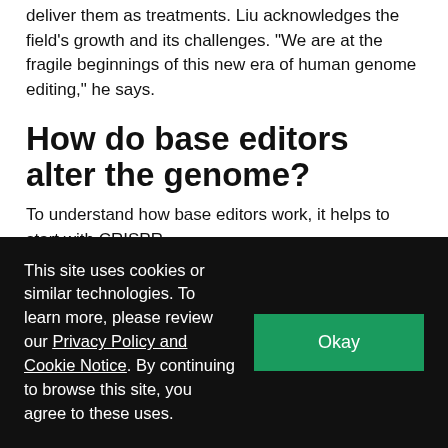deliver them as treatments. Liu acknowledges the field's growth and its challenges. “We are at the fragile beginnings of this new era of human genome editing,” he says.
How do base editors alter the genome?
To understand how base editors work, it helps to start with CRISPR.
The powerful genome editing technology burst onto the scene in 2012, offering scientists a new – and simpler –
This site uses cookies or similar technologies. To learn more, please review our Privacy Policy and Cookie Notice. By continuing to browse this site, you agree to these uses.